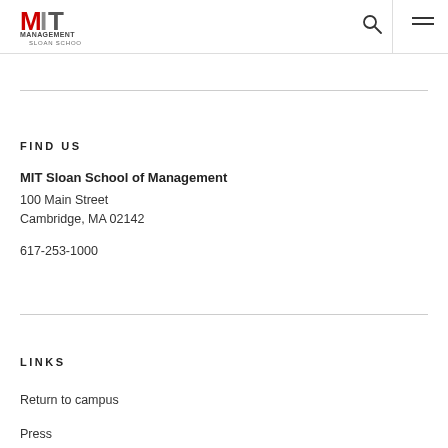[Figure (logo): MIT Management Sloan School logo with red M, gray I, dark T and text MANAGEMENT SLOAN SCHOOL below]
FIND US
MIT Sloan School of Management
100 Main Street
Cambridge, MA 02142

617-253-1000
LINKS
Return to campus
Press